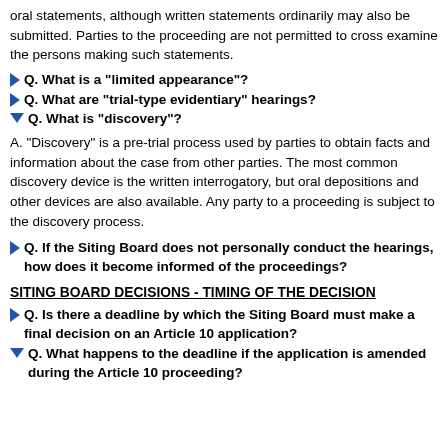oral statements, although written statements ordinarily may also be submitted. Parties to the proceeding are not permitted to cross examine the persons making such statements.
Q. What is a "limited appearance"?
Q. What are "trial-type evidentiary" hearings?
Q. What is "discovery"?
A. "Discovery" is a pre-trial process used by parties to obtain facts and information about the case from other parties. The most common discovery device is the written interrogatory, but oral depositions and other devices are also available. Any party to a proceeding is subject to the discovery process.
Q. If the Siting Board does not personally conduct the hearings, how does it become informed of the proceedings?
SITING BOARD DECISIONS - TIMING OF THE DECISION
Q. Is there a deadline by which the Siting Board must make a final decision on an Article 10 application?
Q. What happens to the deadline if the application is amended during the Article 10 proceeding?